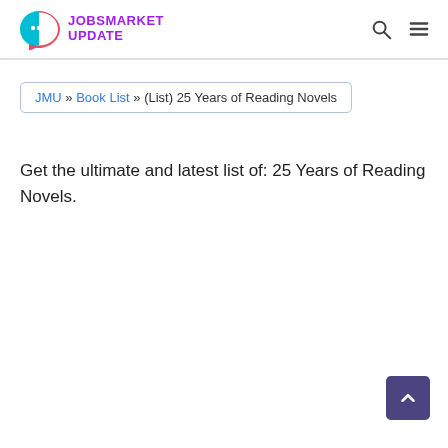JOBSMARKET UPDATE
JMU » Book List » (List) 25 Years of Reading Novels
Get the ultimate and latest list of: 25 Years of Reading Novels.